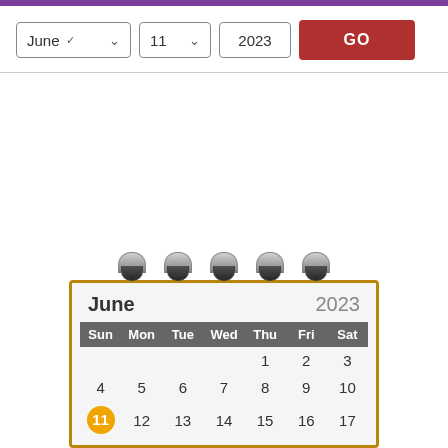[Figure (screenshot): Web calendar interface with month/day/year dropdowns and GO button, plus an illustrated desk calendar showing June 2023 with day 11 highlighted in orange circle]
| Sun | Mon | Tue | Wed | Thu | Fri | Sat |
| --- | --- | --- | --- | --- | --- | --- |
|  |  |  |  | 1 | 2 | 3 |
| 4 | 5 | 6 | 7 | 8 | 9 | 10 |
| 11 | 12 | 13 | 14 | 15 | 16 | 17 |